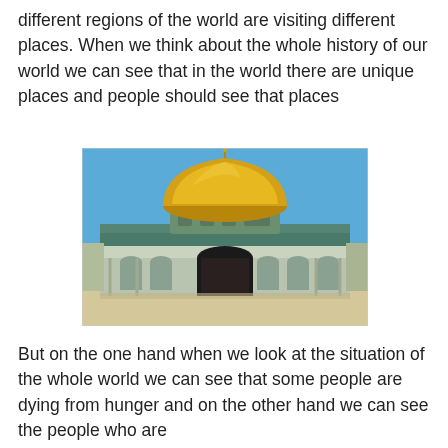different regions of the world are visiting different places. When we think about the whole history of our world we can see that in the world there are unique places and people should see that places
[Figure (photo): Photograph of the Dome of the Rock in Jerusalem, featuring a large golden dome atop an octagonal building decorated with blue and green tilework. The building has arched windows and columns, set against a clear blue sky.]
But on the one hand when we look at the situation of the whole world we can see that some people are dying from hunger and on the other hand we can see the people who are